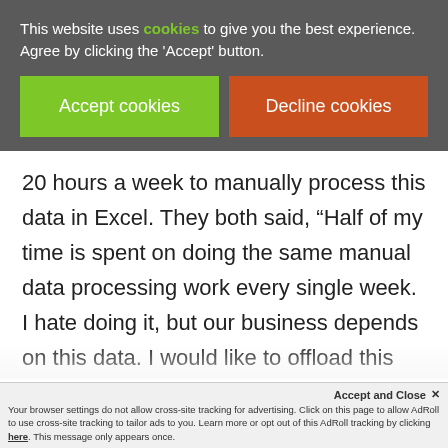This website uses cookies to give you the best experience. Agree by clicking the 'Accept' button.
[Figure (other): Cookie consent buttons: 'Accept cookies' (green) and 'Decline cookies' (dark red/orange)]
20 hours a week to manually process this data in Excel. They both said, “Half of my time is spent on doing the same manual data processing work every single week. I hate doing it, but our business depends on this data. I would like to offload this repetitive work to a machine so I can do more meaningful work. Can you help
Accept and Close × Your browser settings do not allow cross-site tracking for advertising. Click on this page to allow AdRoll to use cross-site tracking to tailor ads to you. Learn more or opt out of this AdRoll tracking by clicking here. This message only appears once.